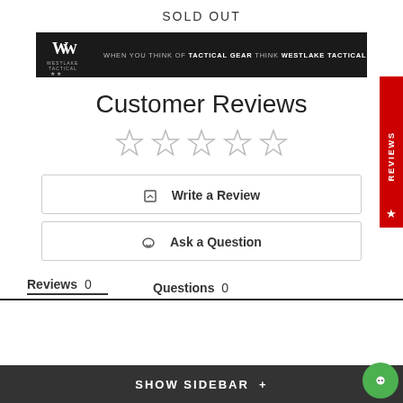SOLD OUT
[Figure (photo): Westlake Tactical banner with logo and text: WHEN YOU THINK OF TACTICAL GEAR THINK WESTLAKE TACTICAL]
Customer Reviews
[Figure (other): 5 empty star rating icons]
Write a Review
Ask a Question
Reviews 0   Questions 0
SHOW SIDEBAR +